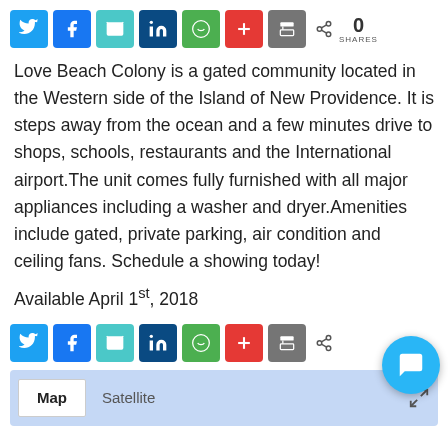[Figure (infographic): Social share buttons bar at top: Twitter (blue), Facebook (blue), Email (teal), LinkedIn (dark blue), WhatsApp (green), Plus/AddThis (red), Print (gray), share icon, 0 SHARES]
Love Beach Colony is a gated community located in the Western side of the Island of New Providence. It is steps away from the ocean and a few minutes drive to shops, schools, restaurants and the International airport.The unit comes fully furnished with all major appliances including a washer and dryer.Amenities include gated, private parking, air condition and ceiling fans. Schedule a showing today!
Available April 1st, 2018
[Figure (infographic): Social share buttons bar at bottom: Twitter (blue), Facebook (blue), Email (teal), LinkedIn (dark blue), WhatsApp (green), Plus/AddThis (red), Print (gray), share icon]
[Figure (screenshot): Google Maps widget with Map and Satellite tab buttons and a blue map background, with expand icon in bottom right]